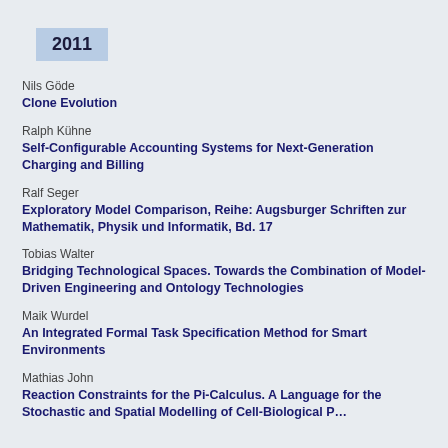2011
Nils Göde
Clone Evolution
Ralph Kühne
Self-Configurable Accounting Systems for Next-Generation Charging and Billing
Ralf Seger
Exploratory Model Comparison, Reihe: Augsburger Schriften zur Mathematik, Physik und Informatik, Bd. 17
Tobias Walter
Bridging Technological Spaces. Towards the Combination of Model-Driven Engineering and Ontology Technologies
Maik Wurdel
An Integrated Formal Task Specification Method for Smart Environments
Mathias John
Reaction Constraints for the Pi-Calculus. A Language for the Stochastic and Spatial Modelling of Cell-Biological Processes